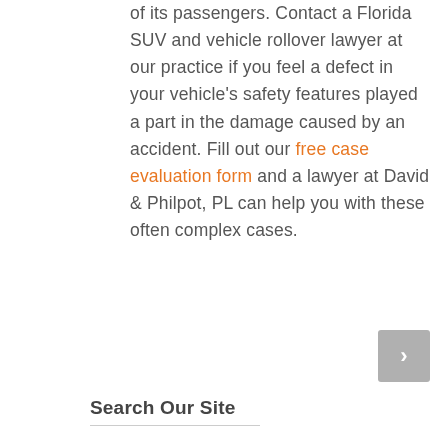of its passengers. Contact a Florida SUV and vehicle rollover lawyer at our practice if you feel a defect in your vehicle's safety features played a part in the damage caused by an accident. Fill out our free case evaluation form and a lawyer at David & Philpot, PL can help you with these often complex cases.
[Figure (other): Navigation arrow button pointing right]
Search Our Site